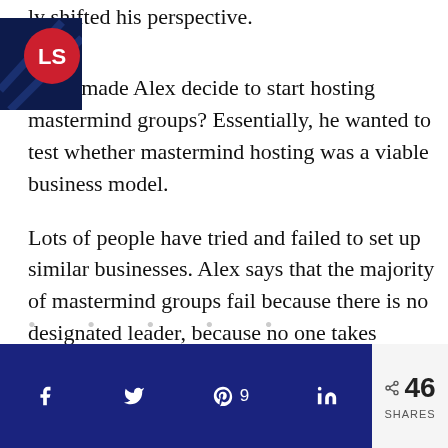ly shifted his perspective.
[Figure (logo): LS logo badge — red circle with white 'LS' letters over a dark navy background with a diagonal striped/microphone graphic]
What made Alex decide to start hosting mastermind groups? Essentially, he wanted to test whether mastermind hosting was a viable business model.
Lots of people have tried and failed to set up similar businesses. Alex says that the majority of mastermind groups fail because there is no designated leader, because no one takes responsibility for making things work.
. . . . .
[Figure (infographic): Social share bar with dark navy background showing Facebook, Twitter, Pinterest (9), LinkedIn icons and a light grey box showing share icon with 46 SHARES count]